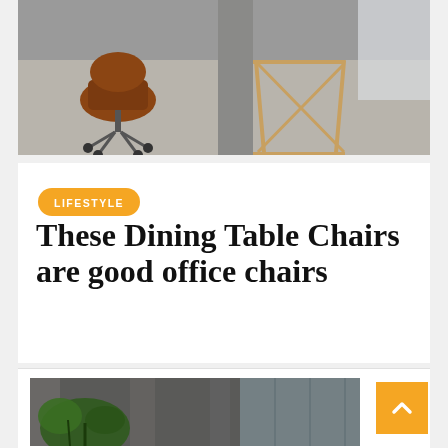[Figure (photo): Interior room with a brown leather office chair on wheels and a wooden geometric frame table on a concrete floor]
LIFESTYLE
These Dining Table Chairs are good office chairs
By Team Korean Talks  3 months ago
[Figure (photo): Modern building interior with tropical plants and large glass windows, with an orange scroll-to-top button overlay]